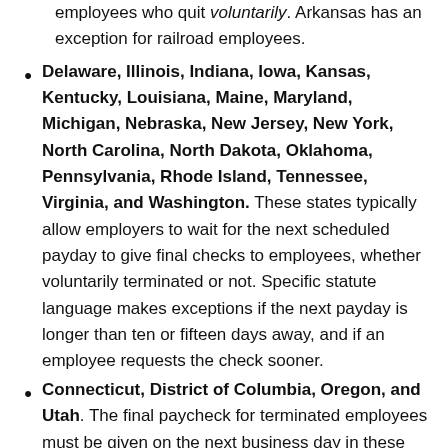employees who quit voluntarily. Arkansas has an exception for railroad employees.
Delaware, Illinois, Indiana, Iowa, Kansas, Kentucky, Louisiana, Maine, Maryland, Michigan, Nebraska, New Jersey, New York, North Carolina, North Dakota, Oklahoma, Pennsylvania, Rhode Island, Tennessee, Virginia, and Washington. These states typically allow employers to wait for the next scheduled payday to give final checks to employees, whether voluntarily terminated or not. Specific statute language makes exceptions if the next payday is longer than ten or fifteen days away, and if an employee requests the check sooner.
Connecticut, District of Columbia, Oregon, and Utah. The final paycheck for terminated employees must be given on the next business day in these states. They have varying requirements for final